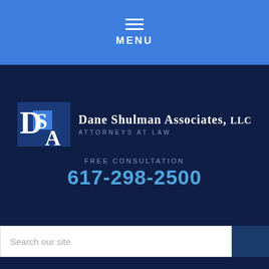MENU
[Figure (logo): Dane Shulman Associates LLC logo with DSA initials and firm name]
FREE CONSULTATION
617-298-2500
Search our site
CATEGORIES
Bicycle and Pedestrian Accidents (1)
blog